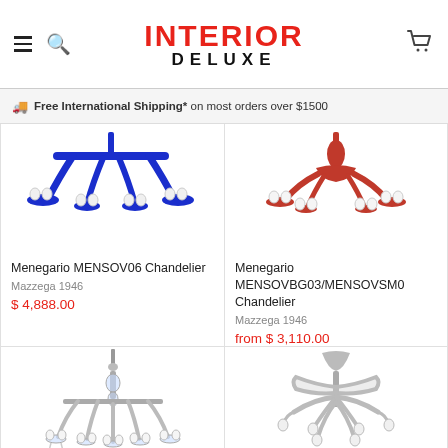INTERIOR DELUXE
Free International Shipping* on most orders over $1500
[Figure (photo): Blue Menegario MENSOV06 chandelier product image]
Menegario MENSOV06 Chandelier
Mazzega 1946
$ 4,888.00
[Figure (photo): Red Menegario MENSOVBG03/MENSOVSM0 chandelier product image]
Menegario MENSOVBG03/MENSOVSM0 Chandelier
Mazzega 1946
from $ 3,110.00
[Figure (photo): Clear/crystal chandelier product image (bottom left)]
[Figure (photo): Silver/white chandelier product image (bottom right)]